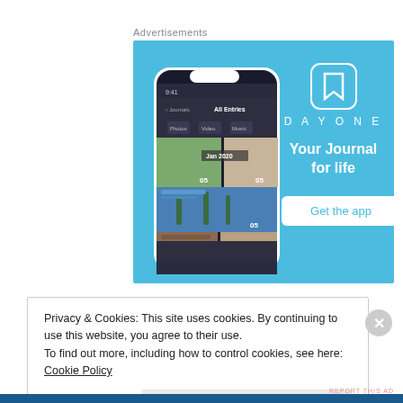Advertisements
[Figure (screenshot): DayOne app advertisement on light blue background showing a smartphone with the DayOne journal app interface, the DayOne logo, tagline 'Your Journal for life', and a 'Get the app' button]
REPORT THIS AD
Privacy & Cookies: This site uses cookies. By continuing to use this website, you agree to their use.
To find out more, including how to control cookies, see here: Cookie Policy
Close and accept